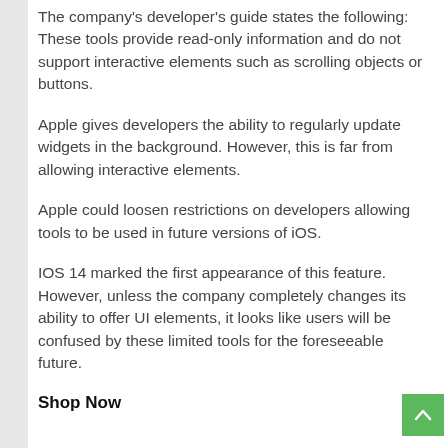The company's developer's guide states the following: These tools provide read-only information and do not support interactive elements such as scrolling objects or buttons.
Apple gives developers the ability to regularly update widgets in the background. However, this is far from allowing interactive elements.
Apple could loosen restrictions on developers allowing tools to be used in future versions of iOS.
IOS 14 marked the first appearance of this feature. However, unless the company completely changes its ability to offer UI elements, it looks like users will be confused by these limited tools for the foreseeable future.
Shop Now